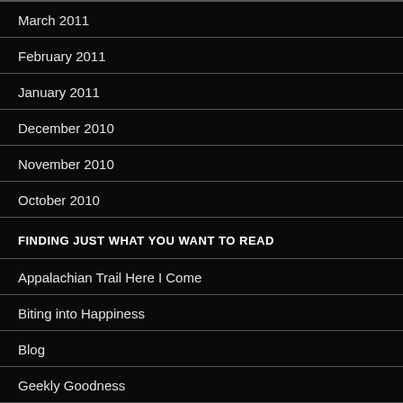March 2011
February 2011
January 2011
December 2010
November 2010
October 2010
FINDING JUST WHAT YOU WANT TO READ
Appalachian Trail Here I Come
Biting into Happiness
Blog
Geekly Goodness